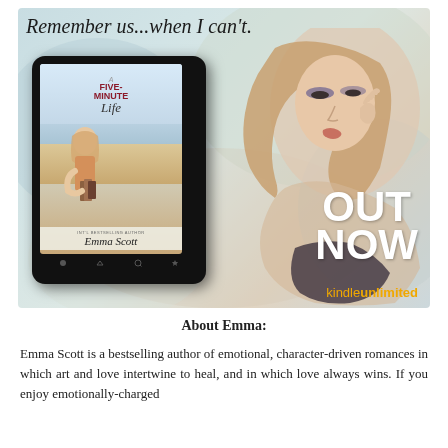[Figure (illustration): Book promotional image for 'A Five-Minute Life' by Emma Scott. Features handwritten-style text reading 'Remember us...when I can't.' overlaid on a watercolor-style background. Left side shows a tablet/e-reader displaying the book cover. Right side shows a woman model lying down with dramatic makeup. 'OUT NOW' text in large white bold letters, and 'kindleunlimited' logo in gold text at bottom right.]
About Emma:
Emma Scott is a bestselling author of emotional, character-driven romances in which art and love intertwine to heal, and in which love always wins. If you enjoy emotionally-charged